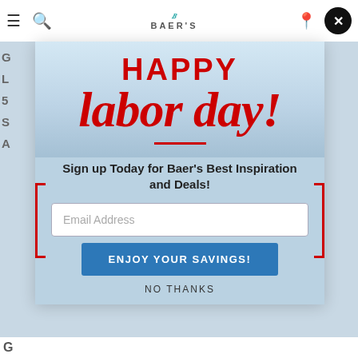[Figure (screenshot): Screenshot of Baer's furniture website with a Labor Day promotional modal popup overlay. The modal contains 'HAPPY labor day!' text in red, a city skyline background, email signup field, blue 'ENJOY YOUR SAVINGS!' button, and 'NO THANKS' link. The background shows the website's navigation bar with Baer's logo, hamburger menu, search icon, location icon, and a close button.]
HAPPY labor day!
Sign up Today for Baer's Best Inspiration and Deals!
Email Address
ENJOY YOUR SAVINGS!
NO THANKS